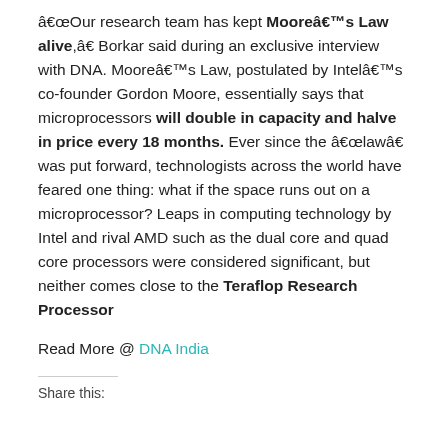“Our research team has kept Moore’s Law alive,” Borkar said during an exclusive interview with DNA. Moore’s Law, postulated by Intel’s co-founder Gordon Moore, essentially says that microprocessors will double in capacity and halve in price every 18 months. Ever since the “law” was put forward, technologists across the world have feared one thing: what if the space runs out on a microprocessor? Leaps in computing technology by Intel and rival AMD such as the dual core and quad core processors were considered significant, but neither comes close to the Teraflop Research Processor
Read More @ DNA India
Share this: